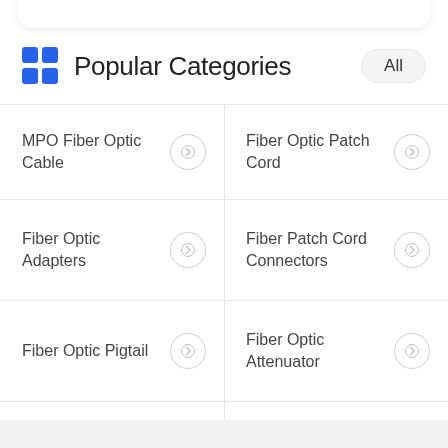Popular Categories
MPO Fiber Optic Cable
Fiber Optic Patch Cord
Fiber Optic Adapters
Fiber Patch Cord Connectors
Fiber Optic Pigtail
Fiber Optic Attenuator
Fiber Optic Splitter
Fiber Optic Cable